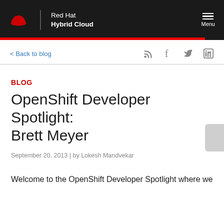Red Hat Hybrid Cloud
< Back to blog
BLOG
OpenShift Developer Spotlight: Brett Meyer
September 20, 2013 | by Lokesh Mandvekar
Welcome to the OpenShift Developer Spotlight where we